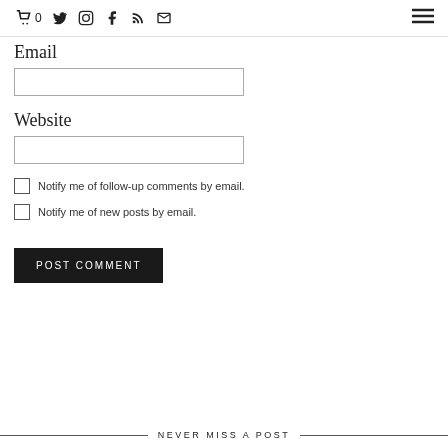🛒 0  Twitter  Instagram  Facebook  RSS  Email  ☰
Email
[Email input field]
Website
[Website input field]
Notify me of follow-up comments by email.
Notify me of new posts by email.
POST COMMENT
NEVER MISS A POST